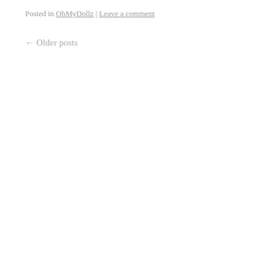Posted in OhMyDollz | Leave a comment
← Older posts